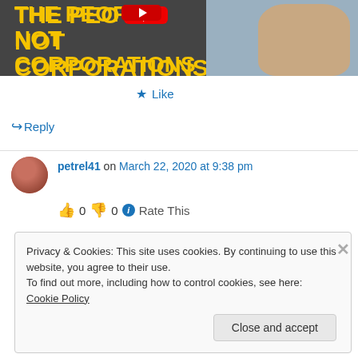[Figure (screenshot): YouTube video thumbnail showing bold yellow text 'THE PEOPLE NOT CORPORATIONS' on dark background, with an older man's face on the right side, and a YouTube play button overlay]
★ Like
↪ Reply
petrel41 on March 22, 2020 at 9:38 pm
👍 0 👎 0 ℹ Rate This
Privacy & Cookies: This site uses cookies. By continuing to use this website, you agree to their use.
To find out more, including how to control cookies, see here: Cookie Policy
Close and accept